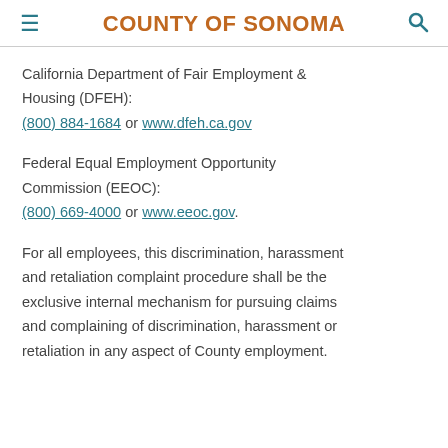COUNTY OF SONOMA
California Department of Fair Employment & Housing (DFEH): (800) 884-1684 or www.dfeh.ca.gov
Federal Equal Employment Opportunity Commission (EEOC): (800) 669-4000 or www.eeoc.gov.
For all employees, this discrimination, harassment and retaliation complaint procedure shall be the exclusive internal mechanism for pursuing claims and complaining of discrimination, harassment or retaliation in any aspect of County employment.